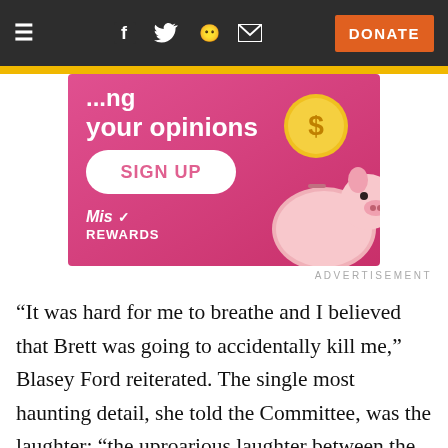≡  f  Twitter  Reddit  Mail  DONATE
[Figure (illustration): Pink advertisement banner for Miso Rewards showing text 'your opinions', a SIGN UP button, a gold coin icon, a cartoon piggy bank, and the Miso Rewards logo]
ADVERTISEMENT
“It was hard for me to breathe and I believed that Brett was going to accidentally kill me,” Blasey Ford reiterated. The single most haunting detail, she told the Committee, was the laughter: “the uproarious laughter between the two and their having fun at my